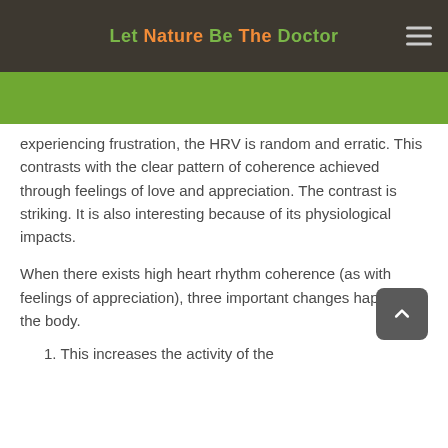Let Nature Be The Doctor
experiencing frustration, the HRV is random and erratic. This contrasts with the clear pattern of coherence achieved through feelings of love and appreciation. The contrast is striking. It is also interesting because of its physiological impacts.
When there exists high heart rhythm coherence (as with feelings of appreciation), three important changes happen in the body.
1. This increases the activity of the